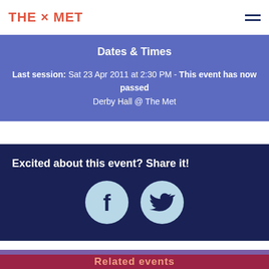THE × MET
Dates & Times
Last session: Sat 23 Apr 2011 at 2:30 PM - This event has now passed
Derby Hall @ The Met
Excited about this event? Share it!
[Figure (infographic): Facebook and Twitter share buttons as circular light-blue icons on dark navy background]
Related events